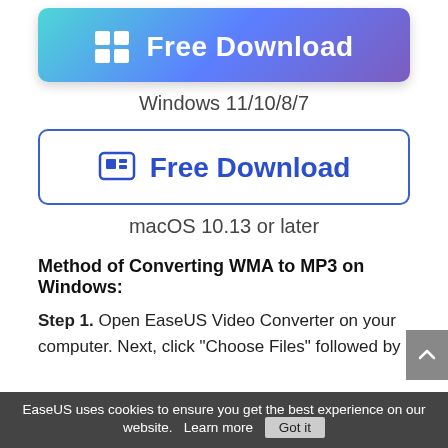[Figure (screenshot): Windows Free Download button with gradient background (teal to purple), white Windows logo icon and white bold text 'Free Download']
Windows 11/10/8/7
[Figure (screenshot): macOS Free Download button with blue border, blue Mac icon and blue bold text 'Free Download']
macOS 10.13 or later
Method of Converting WMA to MP3 on Windows:
Step 1. Open EaseUS Video Converter on your computer. Next, click "Choose Files" followed by
EaseUS uses cookies to ensure you get the best experience on our website.  Learn more   Got it